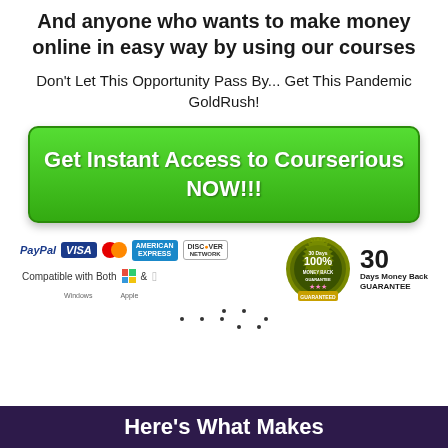And anyone who wants to make money online in easy way by using our courses
Don't Let This Opportunity Pass By... Get This Pandemic GoldRush!
[Figure (infographic): Green gradient button with white bold text: Get Instant Access to Courserious NOW!!!]
[Figure (infographic): Payment icons including PayPal, Visa, MasterCard, American Express, Discover, and a 30 Days 100% Money Back Guarantee badge with 30 Days Money Back GUARANTEE text. Compatible with Both Windows and Apple logos shown below.]
[Figure (infographic): Decorative dots arranged in three rows]
Here's What Makes